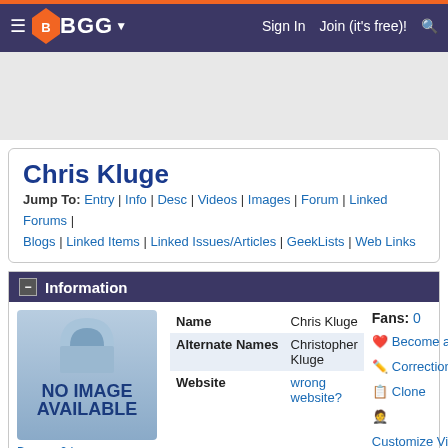BGG — Sign In | Join (it's free)!
Chris Kluge
Jump To: Entry | Info | Desc | Videos | Images | Forum | Linked Forums | Blogs | Linked Items | Linked Issues/Articles | GeekLists | Web Links
Information
[Figure (illustration): No image available placeholder with blue arch graphic]
Browse 0 Images »
| Field | Value |
| --- | --- |
| Name | Chris Kluge |
| Alternate Names | Christopher Kluge |
| Website | wrong website? |
Fans: 0
❤ Become a Fan
✏ Corrections
📋 Clone
Customize View